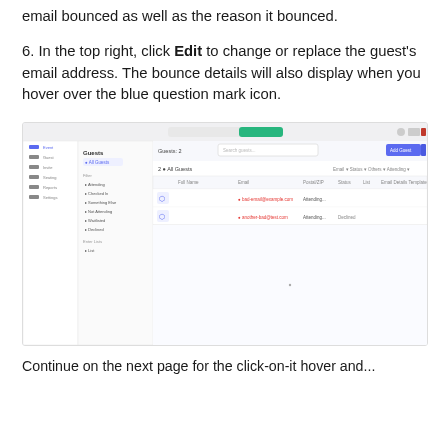email bounced as well as the reason it bounced.
6. In the top right, click Edit to change or replace the guest's email address. The bounce details will also display when you hover over the blue question mark icon.
[Figure (screenshot): Screenshot of a guest list interface showing two guests with bounced email indicators. The interface has a left navigation sidebar, a Guests heading, All Guests filter, and a table with columns for full name, email, postal code, status, list, email details. An Add Guest button appears in the top right of the content area.]
Continue on the next page for the click-on-it hover and...